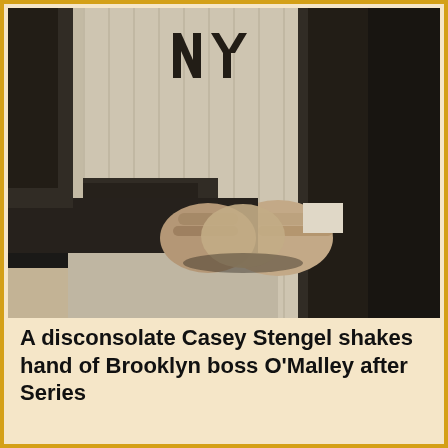[Figure (photo): Black and white newspaper photograph showing two men shaking hands. One man is wearing a New York Yankees baseball uniform with the NY logo visible on the chest. The handshake is the focal point of the image, shot from a close torso/hands perspective.]
A disconsolate Casey Stengel shakes hand of Brooklyn boss O'Malley after Series